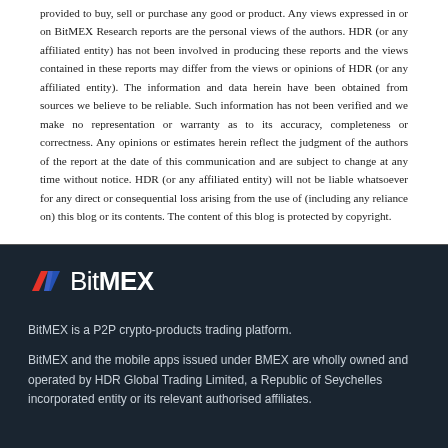provided to buy, sell or purchase any good or product. Any views expressed in or on BitMEX Research reports are the personal views of the authors. HDR (or any affiliated entity) has not been involved in producing these reports and the views contained in these reports may differ from the views or opinions of HDR (or any affiliated entity). The information and data herein have been obtained from sources we believe to be reliable. Such information has not been verified and we make no representation or warranty as to its accuracy, completeness or correctness. Any opinions or estimates herein reflect the judgment of the authors of the report at the date of this communication and are subject to change at any time without notice. HDR (or any affiliated entity) will not be liable whatsoever for any direct or consequential loss arising from the use of (including any reliance on) this blog or its contents. The content of this blog is protected by copyright.
[Figure (logo): BitMEX logo with red and blue chevron/lightning bolt icon followed by BitMEX text in white on dark background]
BitMEX is a P2P crypto-products trading platform.
BitMEX and the mobile apps issued under BMEX are wholly owned and operated by HDR Global Trading Limited, a Republic of Seychelles incorporated entity or its relevant authorised affiliates.